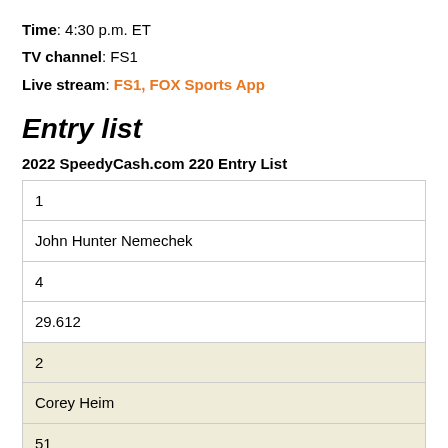Time: 4:30 p.m. ET
TV channel: FS1
Live stream: FS1, FOX Sports App
Entry list
2022 SpeedyCash.com 220 Entry List
| 1 |
| John Hunter Nemechek |
| 4 |
| 29.612 |
| 2 |
| Corey Heim |
| 51 |